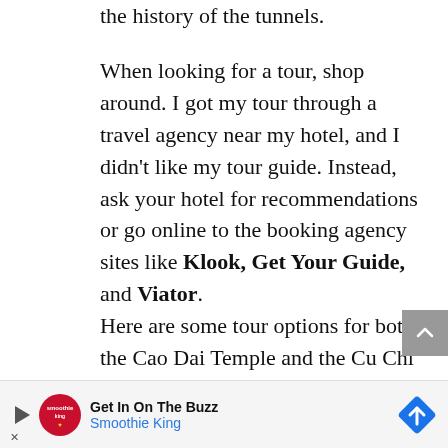the history of the tunnels.
When looking for a tour, shop around. I got my tour through a travel agency near my hotel, and I didn't like my tour guide. Instead, ask your hotel for recommendations or go online to the booking agency sites like Klook, Get Your Guide, and Viator.
Here are some tour options for both the Cao Dai Temple and the Cu Chi Tunnels
Klook – This is a full-day tour of Cao Dai Temple and Cu Chi Tunnels; they are
[Figure (other): Advertisement banner for Smoothie King with play button, logo, text 'Get In On The Buzz / Smoothie King', and a blue diamond navigation icon.]